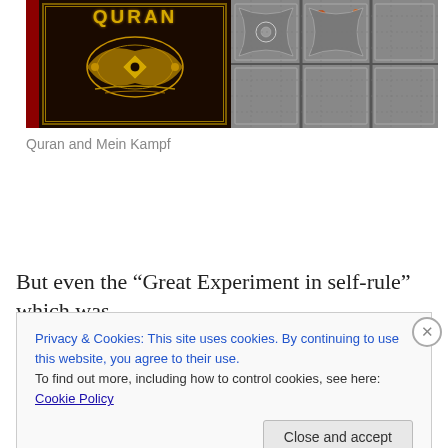[Figure (photo): Two-panel image: left panel shows a decorative Quran book cover with gold text 'QURAN' and ornate gold Islamic patterns on a black and red background; right panel shows an ornate silver/metal decorative screen or panel with intricate floral and nature motifs.]
Quran and Mein Kampf
But even the “Great Experiment in self-rule” which was,
Privacy & Cookies: This site uses cookies. By continuing to use this website, you agree to their use.
To find out more, including how to control cookies, see here: Cookie Policy
Close and accept